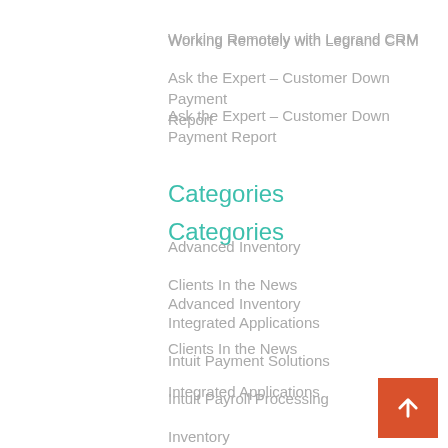Working Remotely with Legrand CRM
Ask the Expert – Customer Down Payment Report
Categories
Advanced Inventory
Clients In the News
Integrated Applications
Intuit Payment Solutions
Intuit Payroll Processing
Inventory